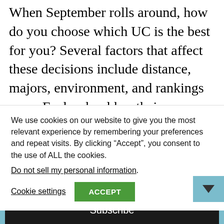When September rolls around, how do you choose which UC is the best for you? Several factors that affect these decisions include distance, majors, environment, and rankings even. Each school has their own niche and reputation, but out of the nine public universities in California, a common trait that unites them all is the
We use cookies on our website to give you the most relevant experience by remembering your preferences and repeat visits. By clicking "Accept", you consent to the use of ALL the cookies.
Do not sell my personal information.
Cookie settings
ACCEPT
Want healthcare, wellness, and lifestyle updates?
Your email address..
Subscribe